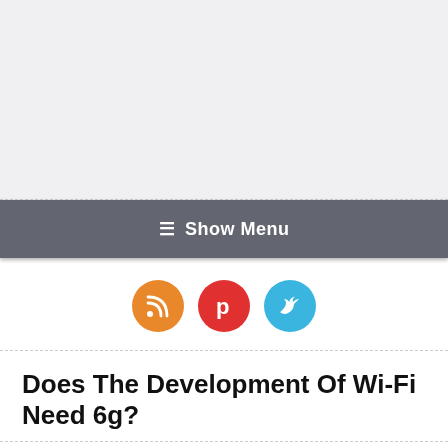[Figure (other): Light gray header banner area, likely an advertisement or logo space]
≡ Show Menu
[Figure (other): Three circular social media icons: RSS (orange), Pinterest (red), Twitter (blue)]
Does The Development Of Wi-Fi Need 6g?